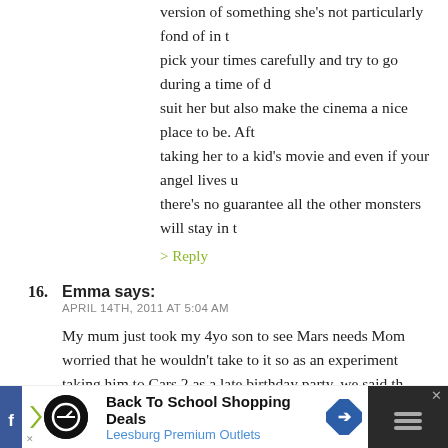version of something she's not particularly fond of in t... pick your times carefully and try to go during a time of d... suit her but also make the cinema a nice place to be. Aft... taking her to a kid's movie and even if your angel lives u... there's no guarantee all the other monsters will stay in t...
> Reply
16. Emma says:
APRIL 14TH, 2011 AT 5:04 AM
My mum just took my 4yo son to see Mars needs Mom... worried that he wouldn't take to it so as an experiment... taking him to Cars 2 as a late birthday party, we said th... Nana/G'son date, he walked out of the theatre bug eye... him what he thought of it and for the first time out of h... "that was AMAZING Nana!" so a hit definitely. Would h... Annies age – no, he was extremely boisterous, also hav... around the same age as Annie (20 feb 2010) and seeing... think i would take her at this age either. But then she do...